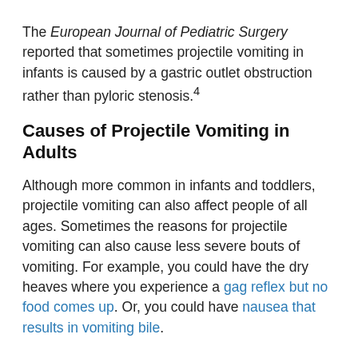The European Journal of Pediatric Surgery reported that sometimes projectile vomiting in infants is caused by a gastric outlet obstruction rather than pyloric stenosis.4
Causes of Projectile Vomiting in Adults
Although more common in infants and toddlers, projectile vomiting can also affect people of all ages. Sometimes the reasons for projectile vomiting can also cause less severe bouts of vomiting. For example, you could have the dry heaves where you experience a gag reflex but no food comes up. Or, you could have nausea that results in vomiting bile.